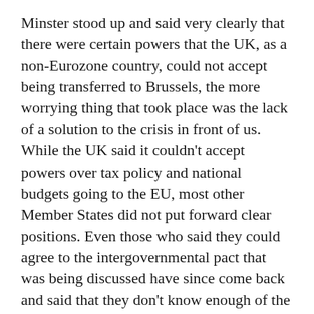Minster stood up and said very clearly that there were certain powers that the UK, as a non-Eurozone country, could not accept being transferred to Brussels, the more worrying thing that took place was the lack of a solution to the crisis in front of us. While the UK said it couldn't accept powers over tax policy and national budgets going to the EU, most other Member States did not put forward clear positions. Even those who said they could agree to the intergovernmental pact that was being discussed have since come back and said that they don't know enough of the detail to even consult their parliaments, let alone give a firm commitment. In most respects this kind of indecisiveness is what has exasperated the Eurozone crisis for the past year. I believe there have been seven summits this year that were billed as being necessary to save the Euro.
Investors demand some level of stability and decisiveness in economic policy-making before they will